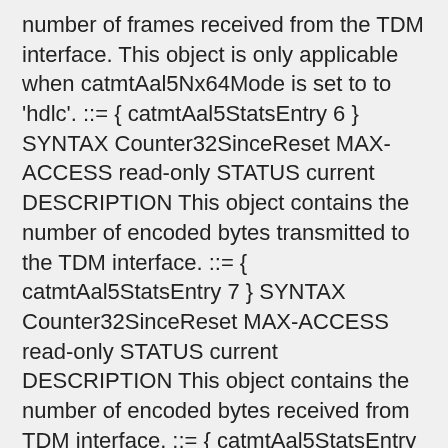number of frames received from the TDM interface. This object is only applicable when catmtAal5Nx64Mode is set to to 'hdlc'. ::= { catmtAal5StatsEntry 6 } SYNTAX Counter32SinceReset MAX-ACCESS read-only STATUS current DESCRIPTION This object contains the number of encoded bytes transmitted to the TDM interface. ::= { catmtAal5StatsEntry 7 } SYNTAX Counter32SinceReset MAX-ACCESS read-only STATUS current DESCRIPTION This object contains the number of encoded bytes received from TDM interface. ::= { catmtAal5StatsEntry 8 } SYNTAX Counter32SinceReset MAX-ACCESS read-only STATUS current DESCRIPTION This object contains the number of invalid frames received with invalid Frame Check Sequence (FCS) error. This object is only applicable when catmtAal5Nx64Mode is set to to 'hdlc'. ::= { catmtAal5StatsEntry 9 } SYNTAX Counter32SinceReset MAX-ACCESS read-only STATUS current DESCRIPTION This object contains the number of invalid frames received with invalid frame abort